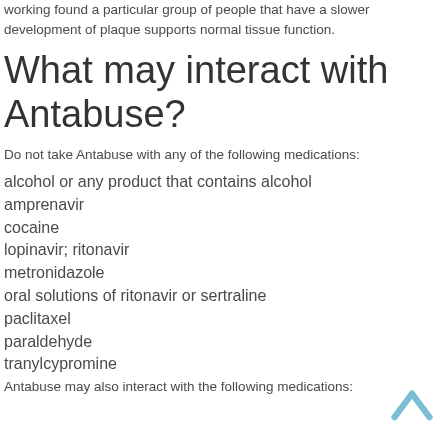working found a particular group of people that have a slower development of plaque supports normal tissue function.
What may interact with Antabuse?
Do not take Antabuse with any of the following medications:
alcohol or any product that contains alcohol
amprenavir
cocaine
lopinavir; ritonavir
metronidazole
oral solutions of ritonavir or sertraline
paclitaxel
paraldehyde
tranylcypromine
Antabuse may also interact with the following medications: